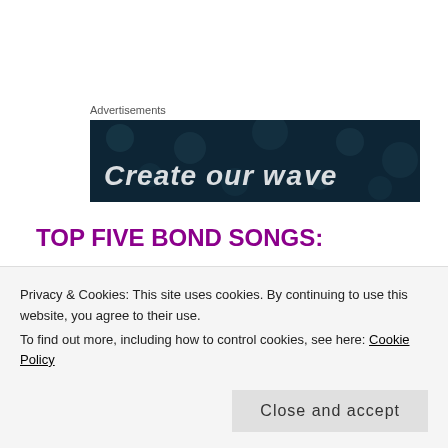[Figure (screenshot): Advertisement banner with dark blue background and white italic text reading 'Create our wave']
TOP FIVE BOND SONGS:
You Know My Name (Chris Cornell) – Casino Royale
Also count as my favorite Bond opening
Privacy & Cookies: This site uses cookies. By continuing to use this website, you agree to their use.
To find out more, including how to control cookies, see here: Cookie Policy
Close and accept